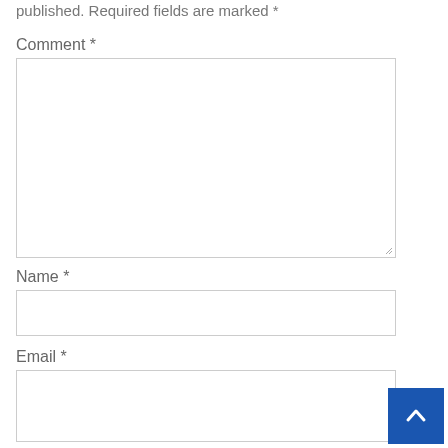published. Required fields are marked *
Comment *
[Figure (other): Comment textarea input box]
Name *
[Figure (other): Name text input box]
Email *
[Figure (other): Email text input box]
[Figure (other): Back to top button - blue square with white upward chevron arrow]